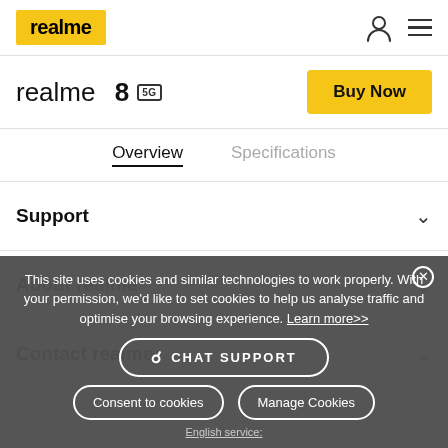realme
realme 8 5G
Buy Now
Overview  Specifications
Support
About realme
Contact realme
This site uses cookies and similar technologies to work properly. With your permission, we'd like to set cookies to help us analyse traffic and optimise your browsing experience. Learn more>>
CHAT SUPPORT
Consent to cookies
Manage Cookies
English service: